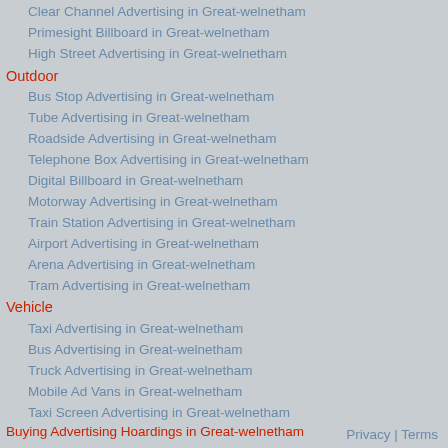Clear Channel Advertising in Great-welnetham
Primesight Billboard in Great-welnetham
High Street Advertising in Great-welnetham
Outdoor
Bus Stop Advertising in Great-welnetham
Tube Advertising in Great-welnetham
Roadside Advertising in Great-welnetham
Telephone Box Advertising in Great-welnetham
Digital Billboard in Great-welnetham
Motorway Advertising in Great-welnetham
Train Station Advertising in Great-welnetham
Airport Advertising in Great-welnetham
Arena Advertising in Great-welnetham
Tram Advertising in Great-welnetham
Vehicle
Taxi Advertising in Great-welnetham
Bus Advertising in Great-welnetham
Truck Advertising in Great-welnetham
Mobile Ad Vans in Great-welnetham
Taxi Screen Advertising in Great-welnetham
Buying Advertising Hoardings in Great-welnetham
Privacy | Terms